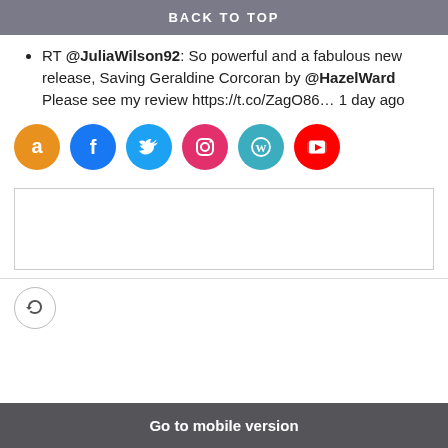BACK TO TOP
RT @JuliaWilson92: So powerful and a fabulous new release, Saving Geraldine Corcoran by @HazelWard Please see my review https://t.co/ZagO86… 1 day ago
[Figure (infographic): Row of six social media icon circles: Amazon (orange), Facebook (blue), Twitter (light blue), Instagram (pink/magenta), WordPress (teal), YouTube (red)]
[Figure (other): Empty comment/text input box with border]
[Figure (logo): Small circular logo with refresh/sync icon symbol]
Go to mobile version